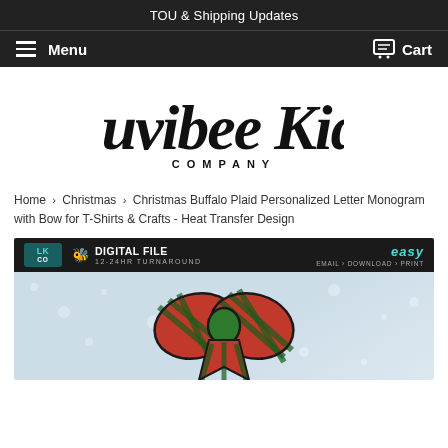TOU & Shipping Updates
Menu  Cart
[Figure (logo): Luvibee Kids Company script logo in black on white background]
Home › Christmas › Christmas Buffalo Plaid Personalized Letter Monogram with Bow for T-Shirts & Crafts - Heat Transfer Design
[Figure (screenshot): Product banner showing digital file information with LK Co badge, DIGITAL FILE 12-24HR TURNAROUND, easy EMAIL > DOWNLOAD > PRINT, and a Christmas buffalo plaid bow monogram heat transfer design on light blue background]